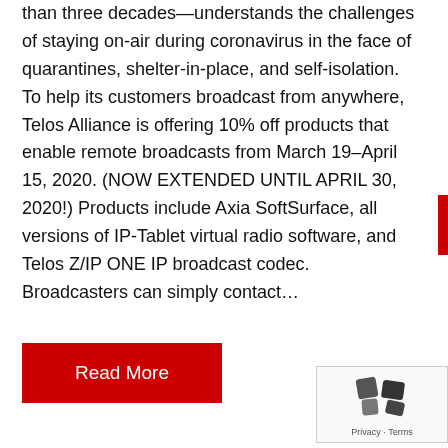than three decades—understands the challenges of staying on-air during coronavirus in the face of quarantines, shelter-in-place, and self-isolation.  To help its customers broadcast from anywhere, Telos Alliance is offering 10% off products that enable remote broadcasts from March 19–April 15, 2020. (NOW EXTENDED UNTIL APRIL 30, 2020!) Products include Axia SoftSurface, all versions of IP-Tablet virtual radio software, and Telos Z/IP ONE IP broadcast codec. Broadcasters can simply contact…
Read More